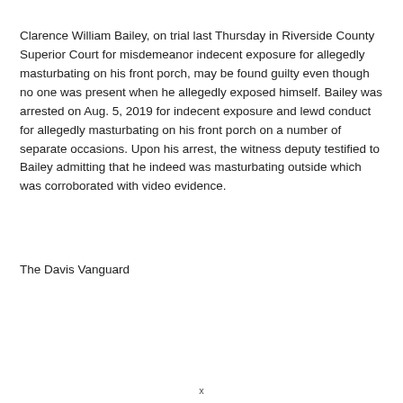Clarence William Bailey, on trial last Thursday in Riverside County Superior Court for misdemeanor indecent exposure for allegedly masturbating on his front porch, may be found guilty even though no one was present when he allegedly exposed himself. Bailey was arrested on Aug. 5, 2019 for indecent exposure and lewd conduct for allegedly masturbating on his front porch on a number of separate occasions. Upon his arrest, the witness deputy testified to Bailey admitting that he indeed was masturbating outside which was corroborated with video evidence.
The Davis Vanguard
x